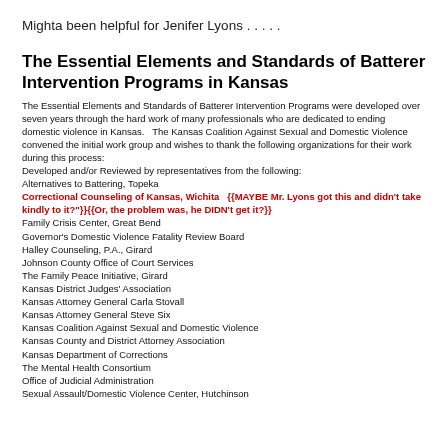Mighta been helpful for Jenifer Lyons . . . . .
The Essential Elements and Standards of Batterer Intervention Programs in Kansas
The Essential Elements and Standards of Batterer Intervention Programs were developed over seven years through the hard work of many professionals who are dedicated to ending domestic violence in Kansas.   The Kansas Coalition Against Sexual and Domestic Violence convened the initial work group and wishes to thank the following organizations for their work during this process:
Developed and/or Reviewed by representatives from the following:
Alternatives to Battering, Topeka
Correctional Counseling of Kansas, Wichita   {{MAYBE Mr. Lyons got this and didn't take kindly to it?"}}{{Or, the problem was, he DIDN'T get it?}}
Family Crisis Center, Great Bend
Governor's Domestic Violence Fatality Review Board
Halley Counseling, P.A., Girard
Johnson County Office of Court Services
The Family Peace Initiative, Girard
Kansas District Judges' Association
Kansas Attorney General Carla Stovall
Kansas Attorney General Steve Six
Kansas Coalition Against Sexual and Domestic Violence
Kansas County and District Attorney Association
Kansas Department of Corrections
The Mental Health Consortium
Office of Judicial Administration
Sexual Assault/Domestic Violence Center, Hutchinson